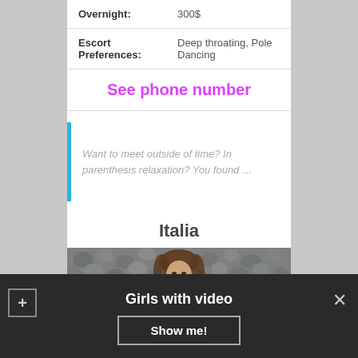| Overnight: | 300$ |
| Escort Preferences: | Deep throating, Pole Dancing |
See phone number
Want to meet outside of time? In parenthesis relaxation? You found …
Italia
[Figure (photo): Photo of a young woman with long brown hair in front of a pebbled wall background]
Girls with video
Show me!